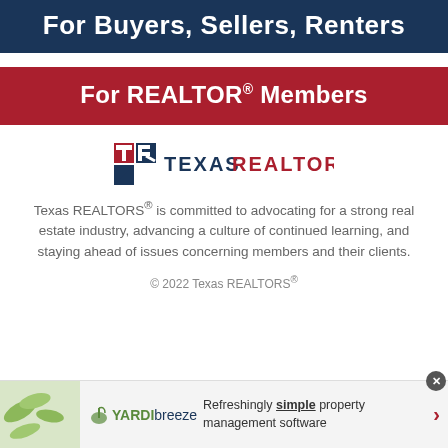For Buyers, Sellers, Renters
For REALTOR® Members
[Figure (logo): Texas REALTORS logo with stylized TR icon in navy and red, followed by 'TEXAS REALTORS' text in navy/red]
Texas REALTORS® is committed to advocating for a strong real estate industry, advancing a culture of continued learning, and staying ahead of issues concerning members and their clients.
© 2022 Texas REALTORS®
[Figure (logo): Yardi Breeze advertisement banner with logo and tagline 'Refreshingly simple property management software']